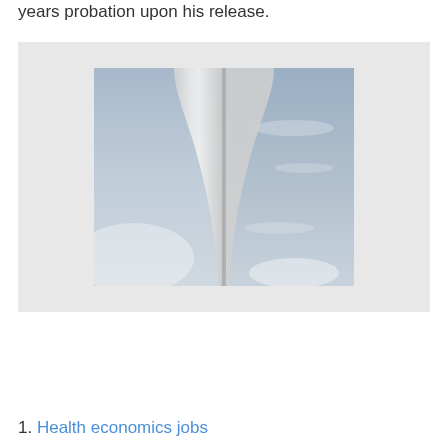years probation upon his release.
[Figure (photo): Photograph of architectural structure resembling a tall arch or tower narrowing at center, shot against a light blue sky with thin clouds. The structure appears white/light gray and is photographed from below looking up.]
1. Health economics jobs